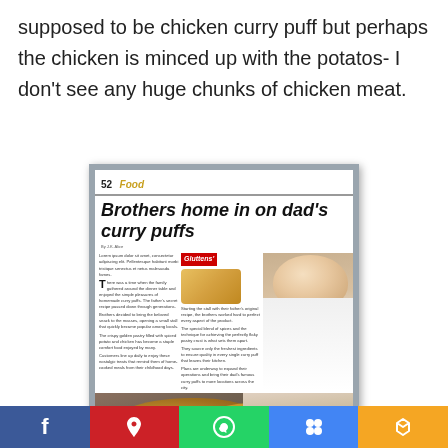supposed to be chicken curry puff but perhaps the chicken is minced up with the potatos- I don't see any huge chunks of chicken meat.
[Figure (photo): Photo of a newspaper article clipping titled 'Brothers home in on dad's curry puffs' with page number 52 Food header, showing a man and golden curry puffs in the foreground, with a Gluttens logo visible.]
Social sharing bar with Facebook, Pinterest, WhatsApp, Google+, and Share buttons